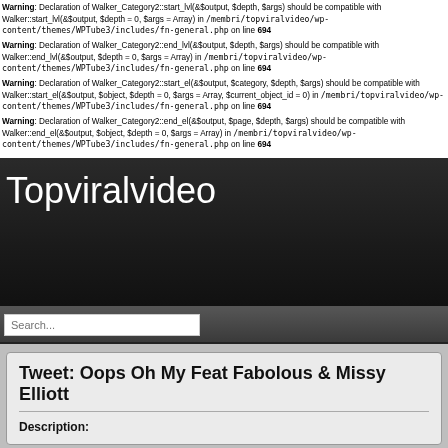Warning: Declaration of Walker_Category2::start_lvl(&$output, $depth, $args) should be compatible with Walker::start_lvl(&$output, $depth = 0, $args = Array) in /membri/topviralvideo/wp-content/themes/WPTube3/includes/fn-general.php on line 694
Warning: Declaration of Walker_Category2::end_lvl(&$output, $depth, $args) should be compatible with Walker::end_lvl(&$output, $depth = 0, $args = Array) in /membri/topviralvideo/wp-content/themes/WPTube3/includes/fn-general.php on line 694
Warning: Declaration of Walker_Category2::start_el(&$output, $category, $depth, $args) should be compatible with Walker::start_el(&$output, $object, $depth = 0, $args = Array, $current_object_id = 0) in /membri/topviralvideo/wp-content/themes/WPTube3/includes/fn-general.php on line 694
Warning: Declaration of Walker_Category2::end_el(&$output, $page, $depth, $args) should be compatible with Walker::end_el(&$output, $object, $depth = 0, $args = Array) in /membri/topviralvideo/wp-content/themes/WPTube3/includes/fn-general.php on line 694
Topviralvideo
Search...
Tweet: Oops Oh My Feat Fabolous & Missy Elliott
Description: